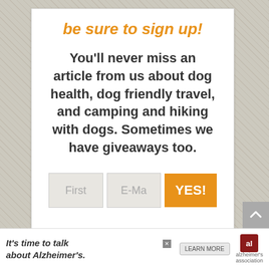be sure to sign up!
You'll never miss an article from us about dog health, dog friendly travel, and camping and hiking with dogs. Sometimes we have giveaways too.
[Figure (screenshot): Email signup form with First Name field, E-Mail field, and orange YES! button]
[Figure (infographic): Alzheimer's Association advertisement banner: 'It's time to talk about Alzheimer's.' with LEARN MORE button and Alzheimer's association logo]